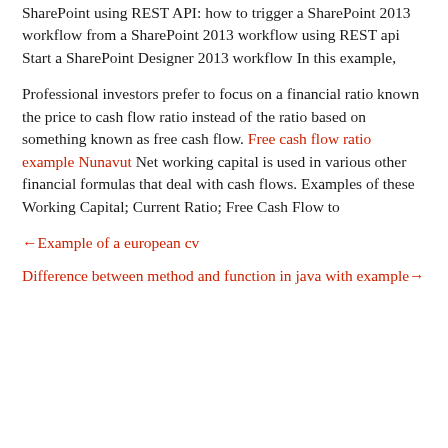SharePoint using REST API: how to trigger a SharePoint 2013 workflow from a SharePoint 2013 workflow using REST api Start a SharePoint Designer 2013 workflow In this example,
Professional investors prefer to focus on a financial ratio known the price to cash flow ratio instead of the ratio based on something known as free cash flow. Free cash flow ratio example Nunavut Net working capital is used in various other financial formulas that deal with cash flows. Examples of these Working Capital; Current Ratio; Free Cash Flow to
←Example of a european cv
Difference between method and function in java with example→